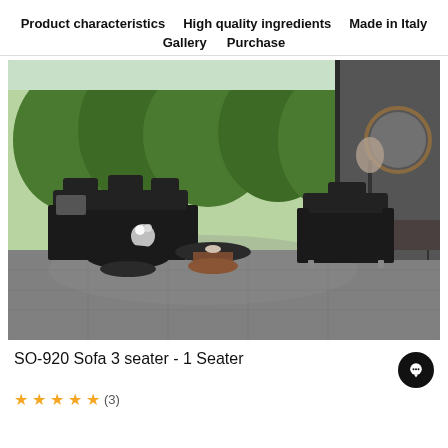Product characteristics   High quality ingredients   Made in Italy   Gallery   Purchase
[Figure (photo): Luxury living room scene with black leather recliner sofas, two round coffee tables (one black, one copper), a floor lamp, a round mirror on the wall, a sideboard, and large floor-to-ceiling windows overlooking a green garden.]
SO-920 Sofa 3 seater - 1 Seater
★★★★★ (3)